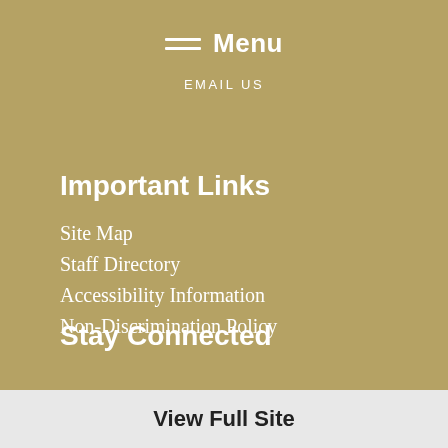Menu
EMAIL US
Important Links
Site Map
Staff Directory
Accessibility Information
Non-Discrimination Policy
Stay Connected
View Full Site